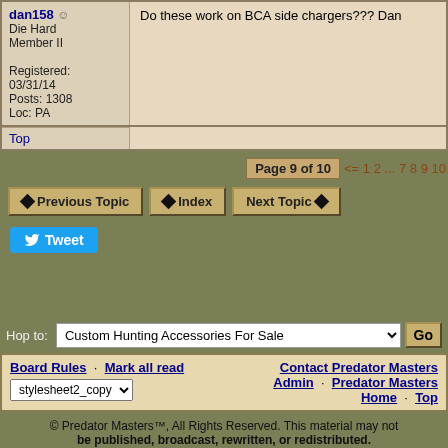dan158 - Die Hard Member II
Registered: 03/31/14
Posts: 1308
Loc: PA
Do these work on BCA side chargers??? Dan
Top
Page 9 of 10 <= 1 2 ... 7 8 9 10
Previous Topic | Index | Next Topic
Tweet
Hop to: Custom Hunting Accessories For Sale
Board Rules · Mark all read | Contact Predator Masters Admin · Predator Masters Home · Top
stylesheet2_copy
© Predator Masters™, All Rights Reserved. This material may not be published, broadcast, rewritten, or redistributed.